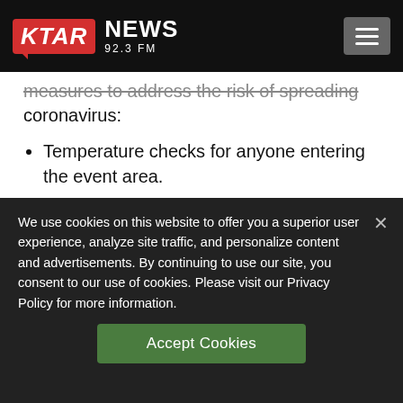KTAR NEWS 92.3 FM
measures to address the risk of spreading coronavirus:
Temperature checks for anyone entering the event area.
Social distancing throughout the venue.
Disinfecting golf clubs, tables and hitting
We use cookies on this website to offer you a superior user experience, analyze site traffic, and personalize content and advertisements. By continuing to use our site, you consent to our use of cookies. Please visit our Privacy Policy for more information.
Accept Cookies